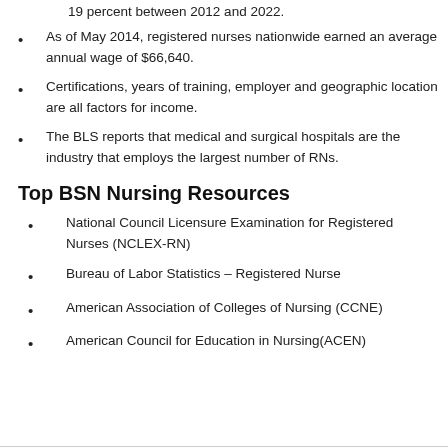19 percent between 2012 and 2022.
As of May 2014, registered nurses nationwide earned an average annual wage of $66,640.
Certifications, years of training, employer and geographic location are all factors for income.
The BLS reports that medical and surgical hospitals are the industry that employs the largest number of RNs.
Top BSN Nursing Resources
National Council Licensure Examination for Registered Nurses (NCLEX-RN)
Bureau of Labor Statistics – Registered Nurse
American Association of Colleges of Nursing (CCNE)
American Council for Education in Nursing(ACEN)